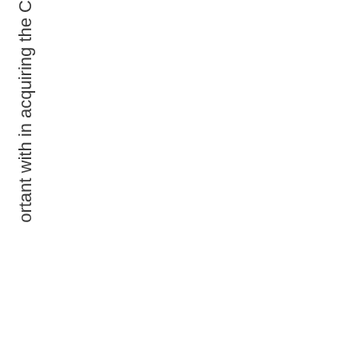ortant with in acquiring the C